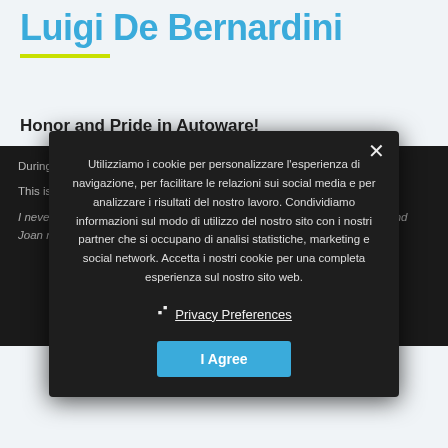Luigi De Bernardini
Honor and Pride in Autoware!
During [text obscured by modal] Francisco [text obscured] gets the Ch[text obscured]
This is what Luigi De Bernardini said:
I never met Charlie. I attended my first CSIA Conference in 2009, wh[ere Charlie] and Joan retir[ed]
[Figure (screenshot): Cookie consent modal overlay with Italian text: 'Utilizziamo i cookie per personalizzare l'esperienza di navigazione, per facilitare le relazioni sui social media e per analizzare i risultati del nostro lavoro. Condividiamo informazioni sul modo di utilizzo del nostro sito con i nostri partner che si occupano di analisi statistiche, marketing e social network. Accetta i nostri cookie per una completa esperienza sul nostro sito web.' With 'Privacy Preferences' link and 'I Agree' button.]